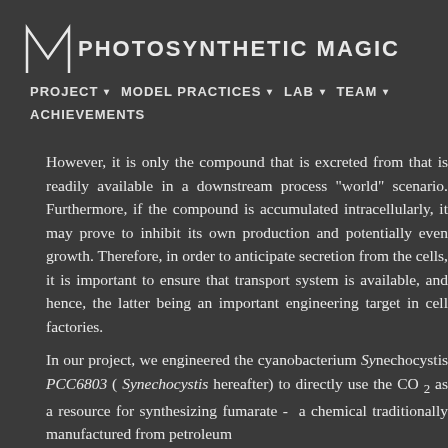PHOTOSYNTHETIC MAGIC
PROJECT ▾ MODEL PRACTICES ▾ LAB ▾ TEAM ▾ ACHIEVEMENTS
However, it is only the compound that is excreted from that is readily available in a downstream process world" scenario. Furthermore, if the compound is accumulated intracellularly, it may prove to inhibit its own production and potentially even growth. Therefore, in order to anticipate secretion from the cells, it is important to ensure that transport system is available, and hence, the latter being an important engineering target in cell factories.
In our project, we engineered the cyanobacterium Synechocystis PCC6803 ( Synechocystis hereafter) to directly use CO₂ as a resource for synthesizing fumarate - a chemical traditionally manufactured from petroleum